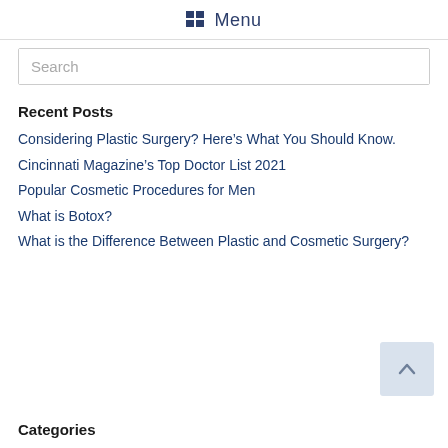Menu
Search
Recent Posts
Considering Plastic Surgery? Here's What You Should Know.
Cincinnati Magazine's Top Doctor List 2021
Popular Cosmetic Procedures for Men
What is Botox?
What is the Difference Between Plastic and Cosmetic Surgery?
Categories